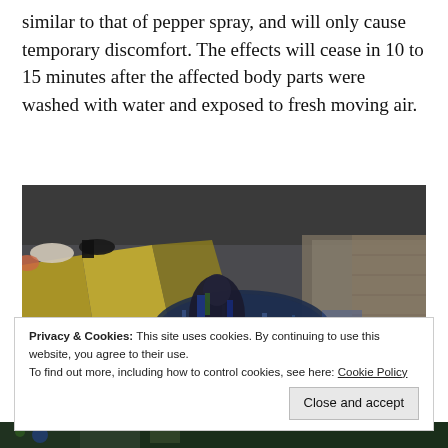similar to that of pepper spray, and will only cause temporary discomfort. The effects will cease in 10 to 15 minutes after the affected body parts were washed with water and exposed to fresh moving air.
[Figure (photo): Street-level photo showing feet/shoes of pedestrians on asphalt with yellow painted lines, and a puddle reflecting the scene and surrounding buildings. A person in dark clothing appears to be crouching near the puddle.]
Privacy & Cookies: This site uses cookies. By continuing to use this website, you agree to their use.
To find out more, including how to control cookies, see here: Cookie Policy
Close and accept
[Figure (photo): Partial view of another photo at the bottom of the page, appears to show colorful underwater or nature scene in dark tones.]